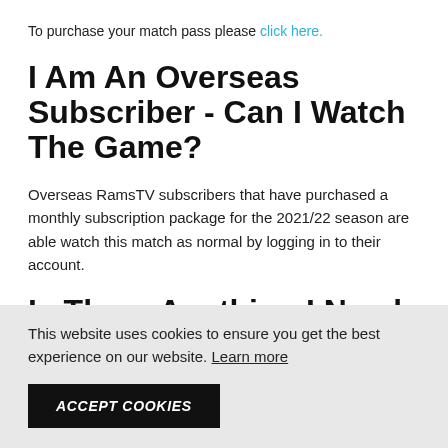To purchase your match pass please click here.
I Am An Overseas Subscriber - Can I Watch The Game?
Overseas RamsTV subscribers that have purchased a monthly subscription package for the 2021/22 season are able watch this match as normal by logging in to their account.
Is There Anything I Need To Do Ahead Of Watching The
This website uses cookies to ensure you get the best experience on our website. Learn more
ACCEPT COOKIES